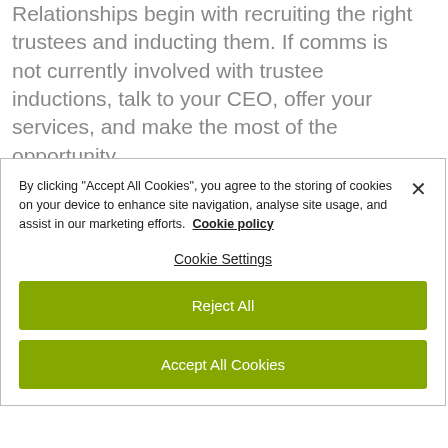Relationships begin with recruiting the right trustees and inducting them. If comms is not currently involved with trustee inductions, talk to your CEO, offer your services, and make the most of the opportunity.
By clicking "Accept All Cookies", you agree to the storing of cookies on your device to enhance site navigation, analyse site usage, and assist in our marketing efforts. Cookie policy
Cookie Settings
Reject All
Accept All Cookies